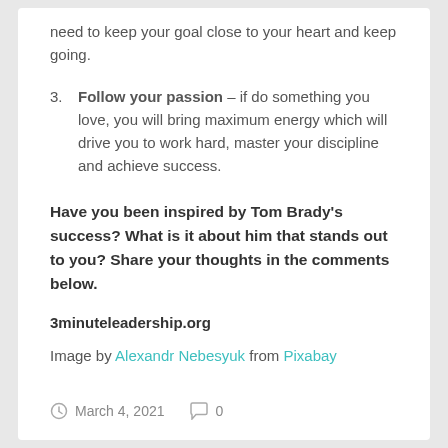need to keep your goal close to your heart and keep going.
3. Follow your passion – if do something you love, you will bring maximum energy which will drive you to work hard, master your discipline and achieve success.
Have you been inspired by Tom Brady's success? What is it about him that stands out to you? Share your thoughts in the comments below.
3minuteleadership.org
Image by Alexandr Nebesyuk from Pixabay
March 4, 2021  0